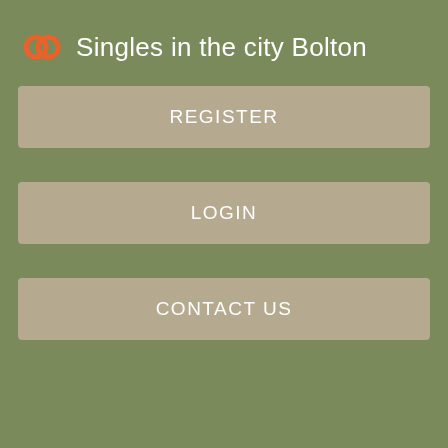Singles in the city Bolton
REGISTER
LOGIN
CONTACT US
Here's a look at some Gay groups near Crosby. Crosby
Want to discuss? Please read our Commenting Policy. World Canada Local. Is the NHL ready for an openly gay player?
[Figure (photo): Dark gray rectangular image placeholder]